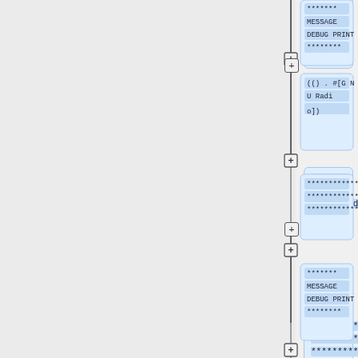[Figure (flowchart): A vertical flowchart/tree diagram showing code blocks connected by plus buttons and vertical lines. Each node is a blue-highlighted code block containing monospace text. Blocks include: '******* MESSAGE DEBUG PRINT ********', '(() . #[G N U   R a d i o])', '************ ************ ************', '******* MESSAGE DEBUG PRINT ********', '(() . #[G N U   R a d i o])', '*********** ***********']